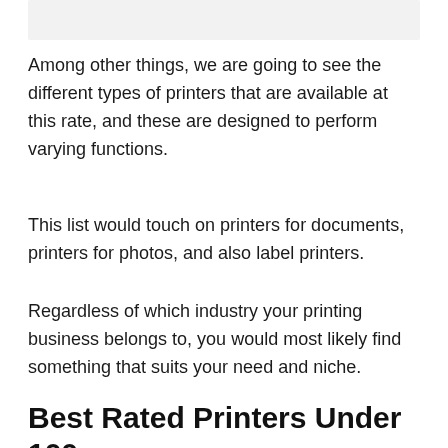[Figure (other): Gray placeholder image or banner at top of page]
Among other things, we are going to see the different types of printers that are available at this rate, and these are designed to perform varying functions.
This list would touch on printers for documents, printers for photos, and also label printers.
Regardless of which industry your printing business belongs to, you would most likely find something that suits your need and niche.
Best Rated Printers Under 100